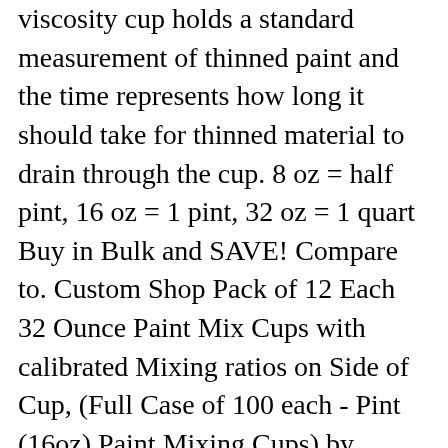viscosity cup holds a standard measurement of thinned paint and the time represents how long it should take for thinned material to drain through the cup. 8 oz = half pint, 16 oz = 1 pint, 32 oz = 1 quart Buy in Bulk and SAVE! Compare to. Custom Shop Pack of 12 Each 32 Ounce Paint Mix Cups with calibrated Mixing ratios on Side of Cup, (Full Case of 100 each - Pint (16oz) Paint Mixing Cups) by Custom Shop - Cups have calibrated mixing ratios on side of cup Box of 100 Cups, Custom Shop 1 Ounce Plastic Paint Hobby Airbrush Mixing Cups (Pack of 50) - Mix-50, Custom Shop Box of 12 Each - 10 Ounce Paint Mixing Cups Cups Have calibrated Mixing ratios on Side of Cup Box of 12 Cups, (Full Case of 100 each - Quart (32oz) PAINT MIXING CUPS) by Custom Shop - Cups are Calibrated with Multiple Mixing Ratios (1-1) (2-1) (3-1) (4-1) (8-1) BOX of 100 Cups includes 12